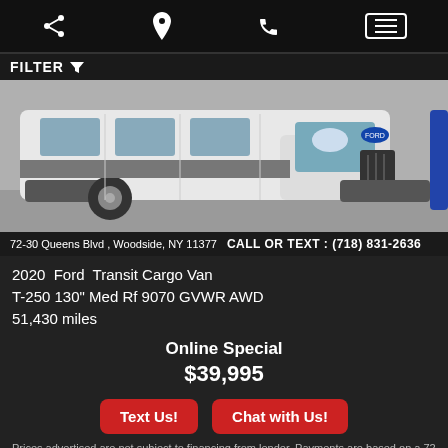Navigation bar with share, location, phone, and menu icons
FILTER
[Figure (photo): Front view of a white 2020 Ford Transit Cargo Van parked on a street]
72-30 Queens Blvd , Woodside, NY 11377   CALL OR TEXT : (718) 831-2636
2020  Ford  Transit Cargo Van
T-250 130" Med Rf 9070 GVWR AWD
51,430 miles
Online Special
$39,995
Text Us!
Chat with Us!
Prices advertised are not subject to financing from lender. Payments are based on a 72 months loan and does not include taxes or other fees. Downpayment is also based on full approval from lender. We are not responsible for any mistakes or errors.